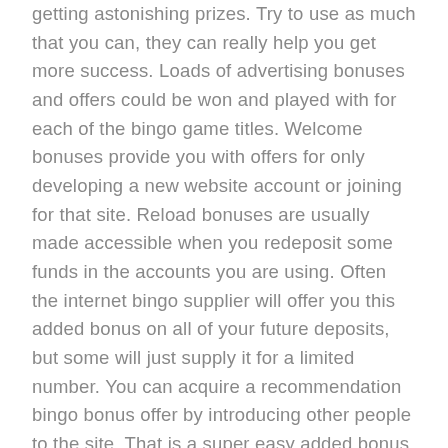getting astonishing prizes. Try to use as much that you can, they can really help you get more success. Loads of advertising bonuses and offers could be won and played with for each of the bingo game titles. Welcome bonuses provide you with offers for only developing a new website account or joining for that site. Reload bonuses are usually made accessible when you redeposit some funds in the accounts you are using. Often the internet bingo supplier will offer you this added bonus on all of your future deposits, but some will just supply it for a limited number. You can acquire a recommendation bingo bonus offer by introducing other people to the site. That is a super easy added bonus to benefit from because people love speaking about their much-loved internet sites. Loyalty bonuses are made available by many gambling providers whenever you accumulate a certain amount of points. If you are using the specific bingo internet site often and put in funds, you may get this kind of bonus. Web sites occasionally deliver cashback rewards which are granted in the event you lose all funds from the account. Using a money back reward a specific proportion of your own wagers can be credited to